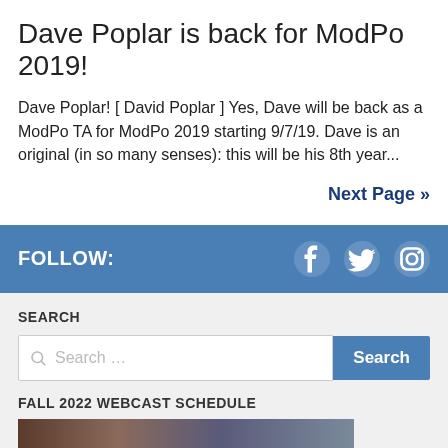Dave Poplar is back for ModPo 2019!
Dave Poplar! [ David Poplar ] Yes, Dave will be back as a ModPo TA for ModPo 2019 starting 9/7/19. Dave is an original (in so many senses): this will be his 8th year...
Next Page »
FOLLOW:
[Figure (other): Social media icons: Facebook, Twitter, Instagram]
SEARCH
[Figure (other): Search input field with Search button]
FALL 2022 WEBCAST SCHEDULE
[Figure (photo): Group photo of people in a room]